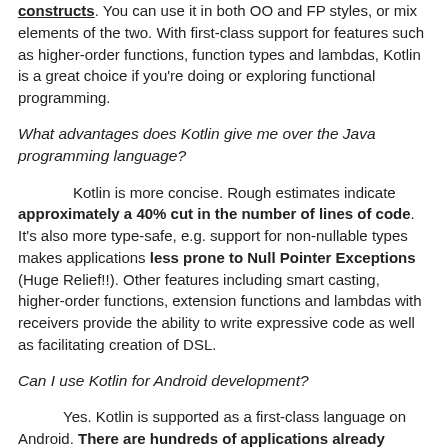constructs. You can use it in both OO and FP styles, or mix elements of the two. With first-class support for features such as higher-order functions, function types and lambdas, Kotlin is a great choice if you're doing or exploring functional programming.
What advantages does Kotlin give me over the Java programming language?
Kotlin is more concise. Rough estimates indicate approximately a 40% cut in the number of lines of code. It's also more type-safe, e.g. support for non-nullable types makes applications less prone to Null Pointer Exceptions (Huge Relief!!). Other features including smart casting, higher-order functions, extension functions and lambdas with receivers provide the ability to write expressive code as well as facilitating creation of DSL.
Can I use Kotlin for Android development?
Yes. Kotlin is supported as a first-class language on Android. There are hundreds of applications already